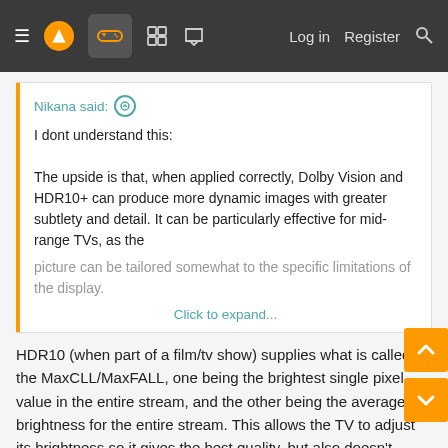≡ [logo] [controller] [grid] [chat]  Log in  Register  [search]
Nikana said: ↑
I dont understand this:

The upside is that, when applied correctly, Dolby Vision and HDR10+ can produce more dynamic images with greater subtlety and detail. It can be particularly effective for mid-range TVs, as the picture can be tailored somewhat to the specific limitations of the display.
Click to expand...
HDR10 (when part of a film/tv show) supplies what is called the MaxCLL/MaxFALL, one being the brightest single pixel value in the entire stream, and the other being the average brightness for the entire stream. This allows the TV to adjust its brightness so it gives the best quality, but also doesn't damage itself. DV/HDR10+ supply these brightness values per cut. So around 500 or so times per hour perhaps.